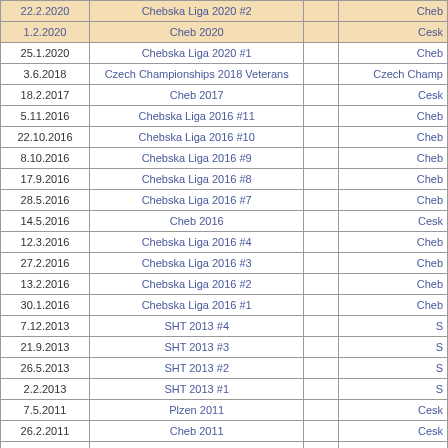| Date | Competition |  | Organization |
| --- | --- | --- | --- |
| 22.2.2020 | Chebska Liga 2020 #2 |  | Cheb... |
| 1.2.2020 | Cheb 2020 |  | Cesk... |
| 25.1.2020 | Chebska Liga 2020 #1 |  | Cheb... |
| 3.6.2018 | Czech Championships 2018 Veterans |  | Czech Champ... |
| 18.2.2017 | Cheb 2017 |  | Cesk... |
| 5.11.2016 | Chebska Liga 2016 #11 |  | Cheb... |
| 22.10.2016 | Chebska Liga 2016 #10 |  | Cheb... |
| 8.10.2016 | Chebska Liga 2016 #9 |  | Cheb... |
| 17.9.2016 | Chebska Liga 2016 #8 |  | Cheb... |
| 28.5.2016 | Chebska Liga 2016 #7 |  | Cheb... |
| 14.5.2016 | Cheb 2016 |  | Cesk... |
| 12.3.2016 | Chebska Liga 2016 #4 |  | Cheb... |
| 27.2.2016 | Chebska Liga 2016 #3 |  | Cheb... |
| 13.2.2016 | Chebska Liga 2016 #2 |  | Cheb... |
| 30.1.2016 | Chebska Liga 2016 #1 |  | Cheb... |
| 7.12.2013 | SHT 2013 #4 |  | S... |
| 21.9.2013 | SHT 2013 #3 |  | S... |
| 26.5.2013 | SHT 2013 #2 |  | S... |
| 2.2.2013 | SHT 2013 #1 |  | S... |
| 7.5.2011 | Plzen 2011 |  | Cesk... |
| 26.2.2011 | Cheb 2011 |  | Cesk... |
| 23.5.2010 | Czech Championships 2010 Veterans |  | Czech Champ... |
| 13.3.2010 | Cheb 2010 |  | Cesk... |
| 27.2.2010 | Plzen 2010 |  | Cesk... |
| 7.6.2009 | Czech Championships 2009 Veterans |  | Czech Champ... |
| 1.6.2008 | Czech Championships 2008 Veterans |  | Czech Champ... |
|  |  |  | Wo... |